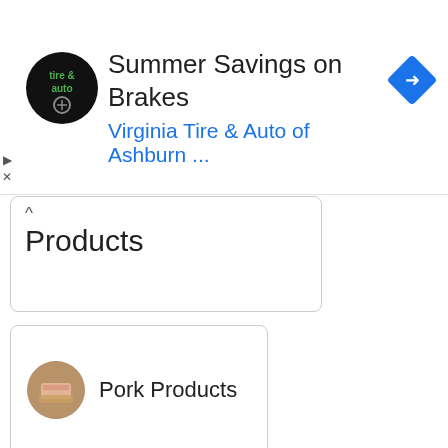[Figure (screenshot): Advertisement banner for Virginia Tire & Auto of Ashburn with logo, headline 'Summer Savings on Brakes', subline 'Virginia Tire & Auto of Ashburn ...', and a blue navigation arrow icon]
Products
Pork Products
Poultry Products